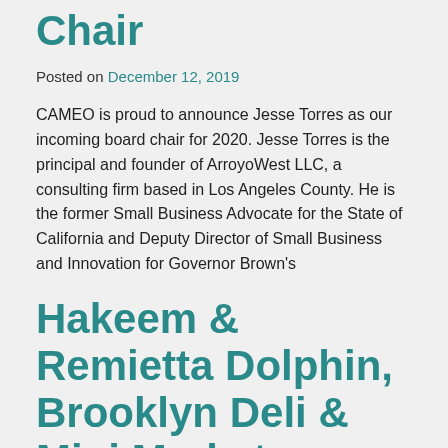Chair
Posted on December 12, 2019
CAMEO is proud to announce Jesse Torres as our incoming board chair for 2020.  Jesse Torres is the principal and founder of ArroyoWest LLC, a consulting firm based in Los Angeles County.  He is the former Small Business Advocate for the State of California and Deputy Director of Small Business and Innovation for Governor Brown's
Hakeem & Remietta Dolphin, Brooklyn Deli & Mini Market
Posted on December 12, 2019